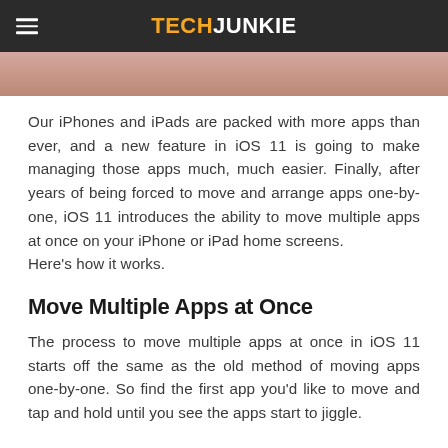TECHJUNKIE
[Figure (photo): Partial photo strip showing a person, cropped at top of page]
Our iPhones and iPads are packed with more apps than ever, and a new feature in iOS 11 is going to make managing those apps much, much easier. Finally, after years of being forced to move and arrange apps one-by-one, iOS 11 introduces the ability to move multiple apps at once on your iPhone or iPad home screens. Here's how it works.
Move Multiple Apps at Once
The process to move multiple apps at once in iOS 11 starts off the same as the old method of moving apps one-by-one. So find the first app you'd like to move and tap and hold until you see the apps start to jiggle.